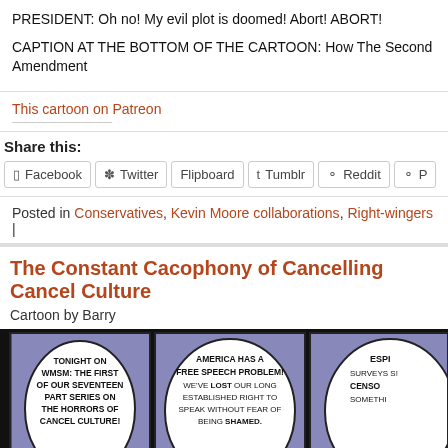PRESIDENT: Oh no! My evil plot is doomed! Abort! ABORT!
CAPTION AT THE BOTTOM OF THE CARTOON: How The Second Amendment
This cartoon on Patreon
Share this:
Facebook
Twitter
Flipboard
Tumblr
Reddit
P
Posted in Conservatives, Kevin Moore collaborations, Right-wingers |
The Constant Cacophony of Cancelling Cancel Culture
Cartoon by Barry
[Figure (illustration): Comic strip panels showing cartoon characters with speech bubbles. Panel 1: TONIGHT ON WMSM: THE FIRST OF OUR SEVENTEEN PART SERIES ON THE HORRORS OF CANCEL CULTURE! Panel 2: AMERICA HAS A FREE SPEECH PROBLEM! WE'VE LOST OUR LONG ESTABLISHED RIGHT TO SPEAK WITHOUT FEAR OF BEING SHAMED. Panel 3 (partial): ESPI... SURVEYS S... CENSO... SOMETHI...]